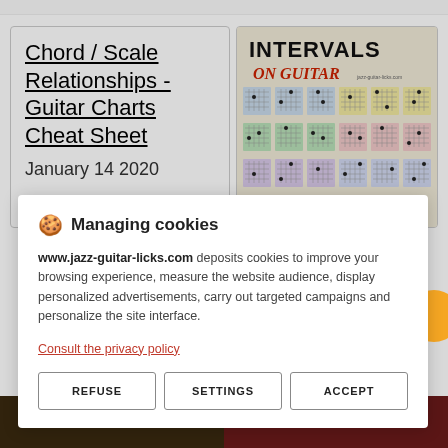Chord / Scale Relationships - Guitar Charts Cheat Sheet
January 14 2020
[Figure (screenshot): Intervals on Guitar book cover showing guitar chord/interval diagrams in a grid layout with colorful backgrounds]
🍪 Managing cookies
www.jazz-guitar-licks.com deposits cookies to improve your browsing experience, measure the website audience, display personalized advertisements, carry out targeted campaigns and personalize the site interface.
Consult the privacy policy
REFUSE
SETTINGS
ACCEPT
[Figure (photo): Dark thumbnail image on left bottom]
[Figure (photo): Dark red thumbnail image on right bottom]